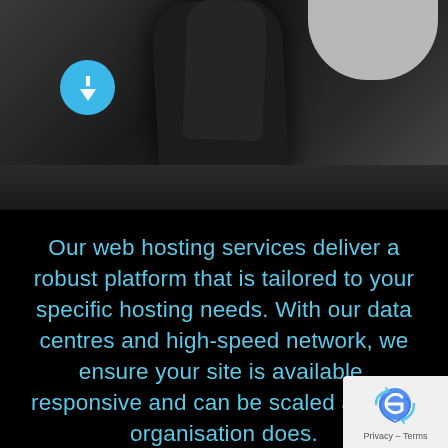[Figure (photo): Dark background photo showing a hand on a table surface, with a white curved object in the top right corner. A teal/blue circular button with a downward arrow is overlaid in the upper left area.]
Our web hosting services deliver a robust platform that is tailored to your specific hosting needs. With our data centres and high-speed network, we ensure your site is available, responsive and can be scaled as your organisation does.